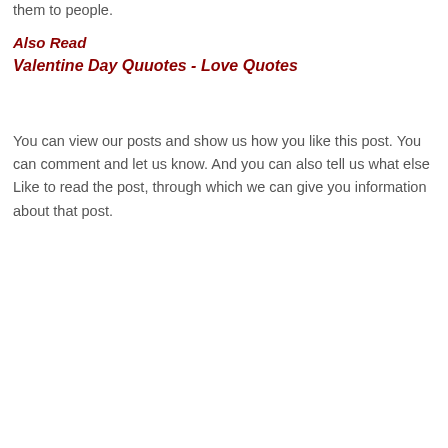them to people.
Also Read
Valentine Day Quuotes - Love Quotes
You can view our posts and show us how you like this post. You can comment and let us know. And you can also tell us what else Like to read the post, through which we can give you information about that post.